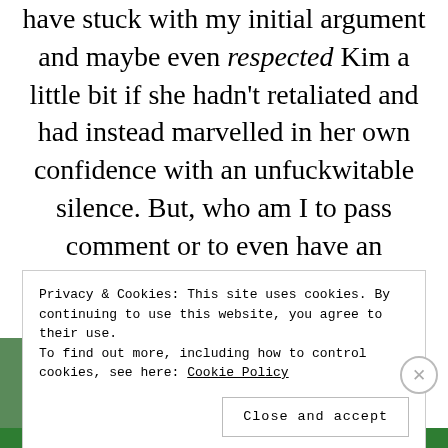have stuck with my initial argument and maybe even respected Kim a little bit if she hadn't retaliated and had instead marvelled in her own confidence with an unfuckwitable silence. But, who am I to pass comment or to even have an opinion... It's her life.
Privacy & Cookies: This site uses cookies. By continuing to use this website, you agree to their use. To find out more, including how to control cookies, see here: Cookie Policy
Close and accept